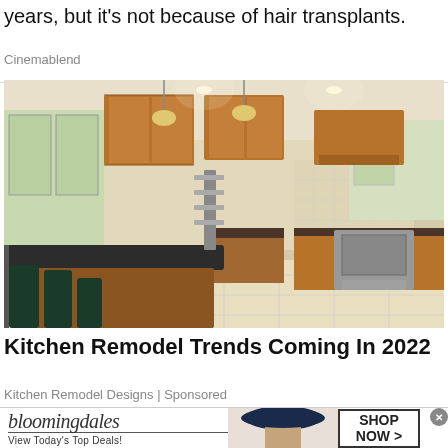years, but it's not because of hair transplants.
Cinemablend
[Figure (photo): Interior photo of a modern kitchen with dark granite island countertop, wooden cabinets, stainless steel appliances, pendant lighting, and tile flooring. Dining chairs at the island, windows showing greenery outside.]
Kitchen Remodel Trends Coming In 2022
Kitchen Remodel Designs | Sponsored
[Figure (photo): Bloomingdale's advertisement banner. Shows 'bloomingdales' logo with tagline 'View Today's Top Deals!' on the left, a woman wearing a large navy hat in the center, and a 'SHOP NOW >' button on the right.]